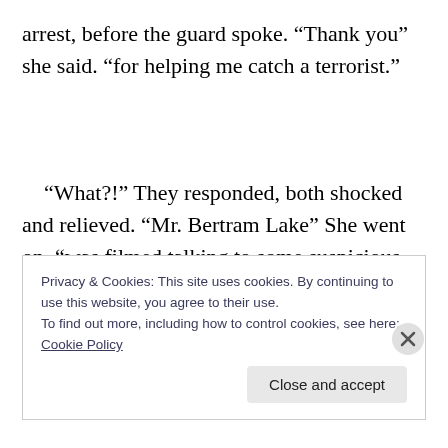arrest, before the guard spoke. “Thank you” she said. “for helping me catch a terrorist.”
“What?!” They responded, both shocked and relieved. “Mr. Bertram Lake” She went on, “was filmed talking to some suspicious persons outside his car last night. As you probably know the technology he was working on is of special interest to the government. It could be a valuable
Privacy & Cookies: This site uses cookies. By continuing to use this website, you agree to their use.
To find out more, including how to control cookies, see here: Cookie Policy